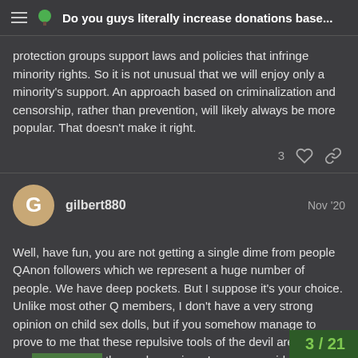Do you guys literally increase donations base...
protection groups support laws and policies that infringe minority rights. So it is not unusual that we will enjoy only a minority's support. An approach based on criminalization and censorship, rather than prevention, will likely always be more popular. That doesn't make it right.
gilbert880   Nov '20
Well, have fun, you are not getting a single dime from people QAnon followers which we represent a huge number of people. We have deep pockets. But I suppose it's your choice. Unlike most other Q members, I don't have a very strong opinion on child sex dolls, but if you somehow manage to prove to me that these repulsive tools of the devil are a nec... they reduce crime, I may reconsider my de... them